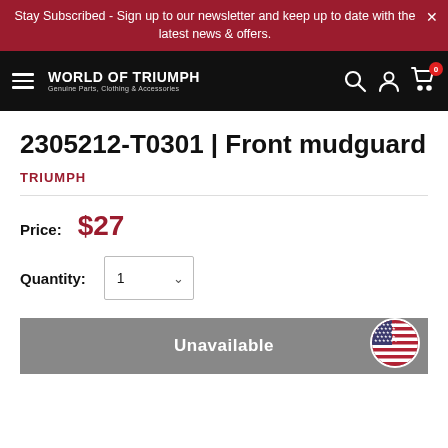Stay Subscribed - Sign up to our newsletter and keep up to date with the latest news & offers.
[Figure (logo): World of Triumph logo with hamburger menu, search, account, and cart icons in black navbar]
2305212-T0301 | Front mudguard
TRIUMPH
Price: $27
Quantity: 1
Unavailable